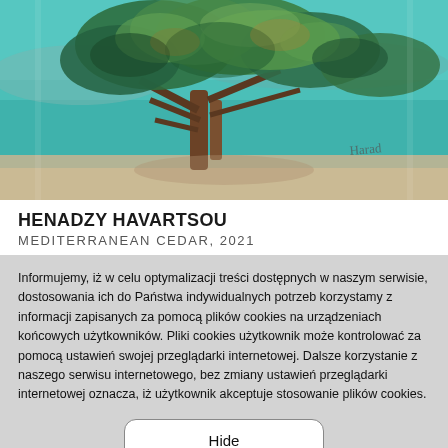[Figure (illustration): Oil painting of a Mediterranean cedar tree with turquoise sea/water in the background, impressionist style with signature in the lower right]
HENADZY HAVARTSOU
MEDITERRANEAN CEDAR, 2021
Informujemy, iż w celu optymalizacji treści dostępnych w naszym serwisie, dostosowania ich do Państwa indywidualnych potrzeb korzystamy z informacji zapisanych za pomocą plików cookies na urządzeniach końcowych użytkowników. Pliki cookies użytkownik może kontrolować za pomocą ustawień swojej przeglądarki internetowej. Dalsze korzystanie z naszego serwisu internetowego, bez zmiany ustawień przeglądarki internetowej oznacza, iż użytkownik akceptuje stosowanie plików cookies.
Hide
Change settings